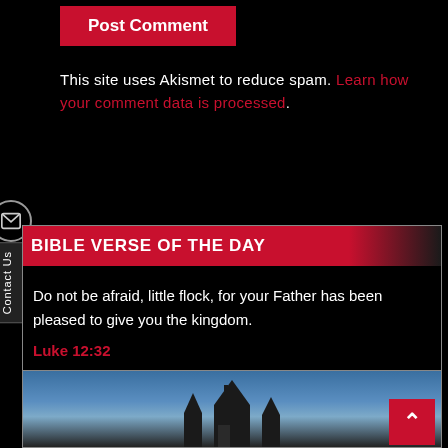Post Comment
This site uses Akismet to reduce spam. Learn how your comment data is processed.
BIBLE VERSE OF THE DAY
Do not be afraid, little flock, for your Father has been pleased to give you the kingdom.
Luke 12:32
[Figure (photo): Church or cathedral building photographed against a blue sky, bottom of page widget area]